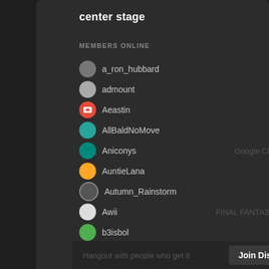center stage
MEMBERS ONLINE
a_ron_hubbard
admount
Aeastin
AllBaldNoMove
Aniconys
AuntieLana
Autumn_Rainstorm
Awii
b3isbol
Blazer
Bravoo2x
BuiltToSpill
BuzzNacho
Hangout with people who get it
Join Discord